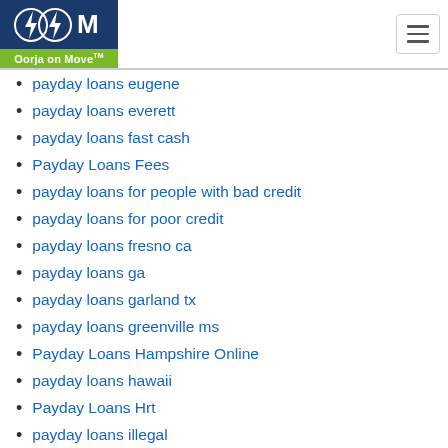Oorja on Move
payday loans eugene
payday loans everett
payday loans fast cash
Payday Loans Fees
payday loans for people with bad credit
payday loans for poor credit
payday loans fresno ca
payday loans ga
payday loans garland tx
payday loans greenville ms
Payday Loans Hampshire Online
payday loans hawaii
Payday Loans Hrt
payday loans illegal
payday loans in atlanta ga no credit check
payday loans in baltimore md